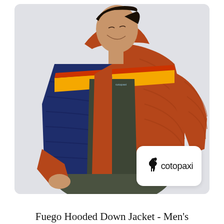[Figure (photo): A man smiling and looking down, wearing a Cotopaxi Fuego Hooded Down Jacket. The jacket is a colorblock design with burnt orange/rust on the right side and back, navy blue on the left front panel, and a bright orange/yellow horizontal stripe across the chest. The man wears a dark olive/grey t-shirt underneath and dark pants. The background is light grey. A Cotopaxi logo badge (white rounded rectangle with black llama icon and 'cotopaxi' text) is overlaid in the bottom right corner of the image.]
Fuego Hooded Down Jacket - Men's